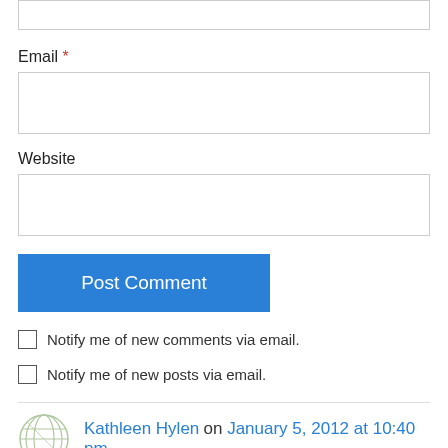Email *
[Figure (other): Empty email input text field]
Website
[Figure (other): Empty website input text field]
[Figure (other): Post Comment button (blue)]
Notify me of new comments via email.
Notify me of new posts via email.
Kathleen Hylen on January 5, 2012 at 10:40 pm